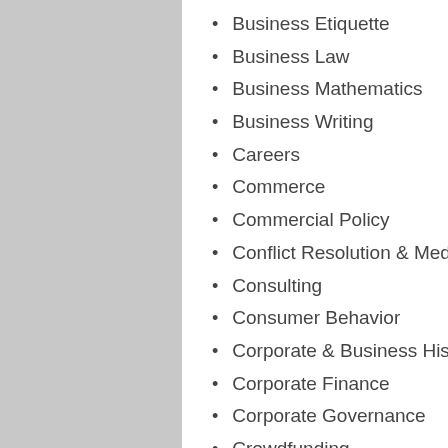Business Etiquette
Business Law
Business Mathematics
Business Writing
Careers
Commerce
Commercial Policy
Conflict Resolution & Mediation
Consulting
Consumer Behavior
Corporate & Business History
Corporate Finance
Corporate Governance
Crowdfunding
Customer Relations
Decision-Making & Problem Solving
Development
Distribution